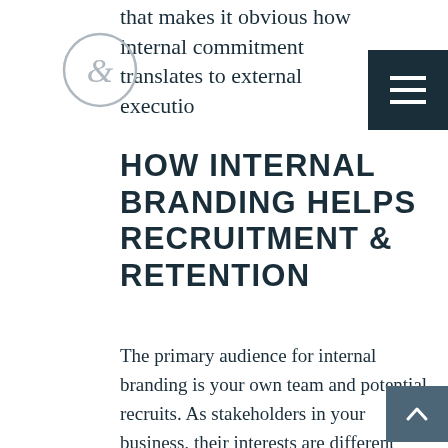that makes it obvious how internal commitment translates to external execution
HOW INTERNAL BRANDING HELPS RECRUITMENT & RETENTION
The primary audience for internal branding is your own team and potential recruits. As stakeholders in your business, their interests are different from those of a client or customer, who are most concerned with deliverables and costs.
Your team cares about things like company culture, collaboration, cohesion, performance